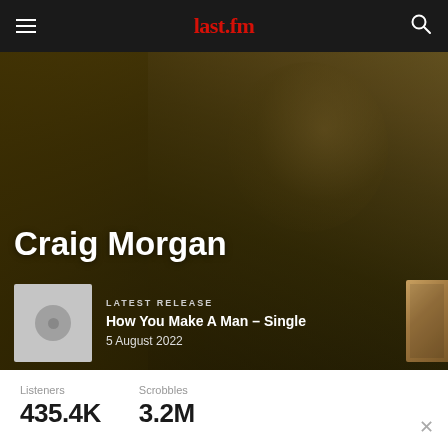last.fm
Craig Morgan
LATEST RELEASE
How You Make A Man – Single
5 August 2022
Listeners  435.4K
Scrobbles  3.2M